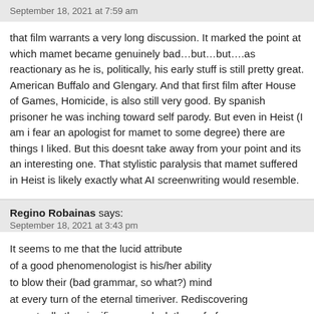September 18, 2021 at 7:59 am
that film warrants a very long discussion. It marked the point at which mamet became genuinely bad…but…but….as reactionary as he is, politically, his early stuff is still pretty great. American Buffalo and Glengary. And that first film after House of Games, Homicide, is also still very good. By spanish prisoner he was inching toward self parody. But even in Heist (I am i fear an apologist for mamet to some degree) there are things I liked. But this doesnt take away from your point and its an interesting one. That stylistic paralysis that mamet suffered in Heist is likely exactly what AI screenwriting would resemble.
Regino Robainas says:
September 18, 2021 at 3:43 pm
It seems to me that the lucid attribute
of a good phenomenologist is his/her ability
to blow their (bad grammar, so what?) mind
at every turn of the eternal timeriver. Rediscovering
perpetually the significance or lack thereof of
every event without cultural blindfolds and with
the surprise, desire, fear, and joy of a newborn.